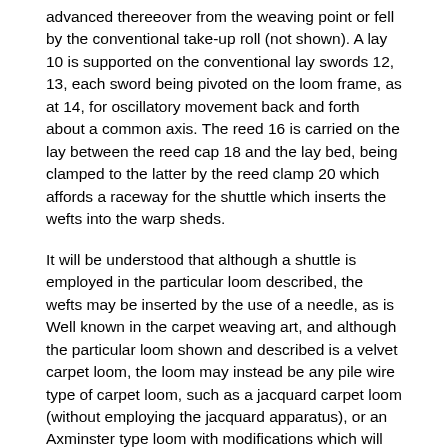advanced thereeover from the weaving point or fell by the conventional take-up roll (not shown). A lay 10 is supported on the conventional lay swords 12, 13, each sword being pivoted on the loom frame, as at 14, for oscillatory movement back and forth about a common axis. The reed 16 is carried on the lay between the reed cap 18 and the lay bed, being clamped to the latter by the reed clamp 20 which affords a raceway for the shuttle which inserts the wefts into the warp sheds.
It will be understood that although a shuttle is employed in the particular loom described, the wefts may be inserted by the use of a needle, as is Well known in the carpet weaving art, and although the particular loom shown and described is a velvet carpet loom, the loom may instead be any pile wire type of carpet loom, such as a jacquard carpet loom (without employing the jacquard apparatus), or an Axminster type loom with modifications which will be obvious to those skilled in the art in view of the disclosure herein.
Oscillatory movement of the lay forwardly to beat up a weft and rearwardly to permit insertion of the next weft is effected by means of the crankshaft 22 extending